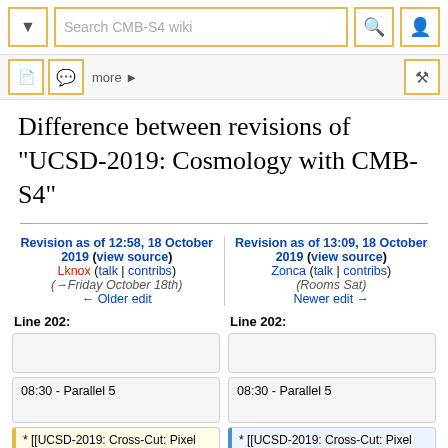Search CMB-S4 wiki
Difference between revisions of "UCSD-2019: Cosmology with CMB-S4"
Revision as of 12:58, 18 October 2019 (view source)
Lknox (talk | contribs)
(→Friday October 18th)
← Older edit
Revision as of 13:09, 18 October 2019 (view source)
Zonca (talk | contribs)
(Rooms Sat)
Newer edit →
Line 202:
Line 202:
08:30 - Parallel 5
08:30 - Parallel 5
* [[UCSD-2019: Cross-Cut: Pixel Size/f-Number Optimization | Cross-Cut: Pixel Size/f-Number
* [[UCSD-2019: Cross-Cut: Pixel Size/f-Number Optimization | Cross-Cut: Pixel Size/f-Number